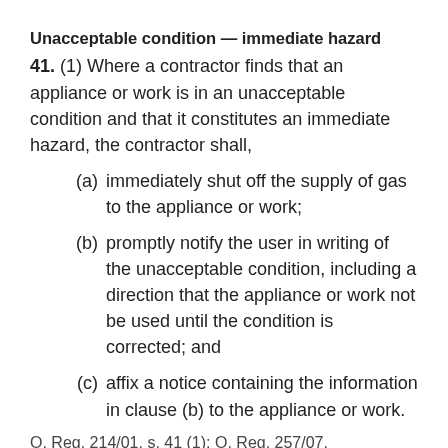Unacceptable condition — immediate hazard
41. (1) Where a contractor finds that an appliance or work is in an unacceptable condition and that it constitutes an immediate hazard, the contractor shall,
(a) immediately shut off the supply of gas to the appliance or work;
(b) promptly notify the user in writing of the unacceptable condition, including a direction that the appliance or work not be used until the condition is corrected; and
(c) affix a notice containing the information in clause (b) to the appliance or work.
O. Reg. 214/01, s. 41 (1); O. Reg. 257/07.